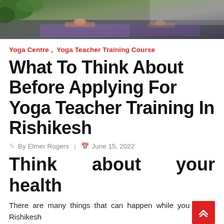[Figure (photo): Yoga students practicing poses on purple mats, viewed from above/side, outdoor or indoor studio setting with green foliage visible.]
Yoga Centre , Yoga Teacher Training Course
What To Think About Before Applying For Yoga Teacher Training In Rishikesh
By Elmer Rogers | June 15, 2022
Think about your health
There are many things that can happen while you are at Rishikesh